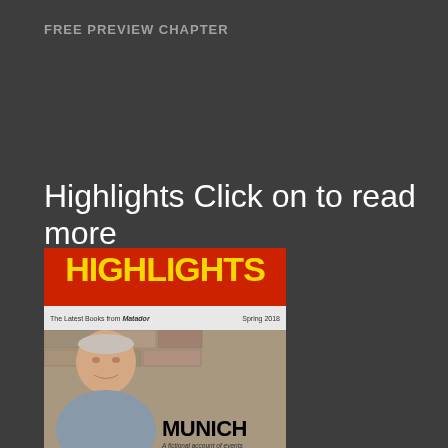FREE PREVIEW CHAPTER
Highlights Click on to read more
[Figure (illustration): Cover of Highlights magazine, Spring 2018, published by Matador. Red banner at top with large yellow bold text 'HIGHLIGHTS'. Below is a photo of an older man with grey hair in front of a stone wall. On the right side text reads 'MUNICH - A fictional account of events surrounding the infamous Munich Agreement...' with a small dark badge showing 'MUNICH' at bottom.]